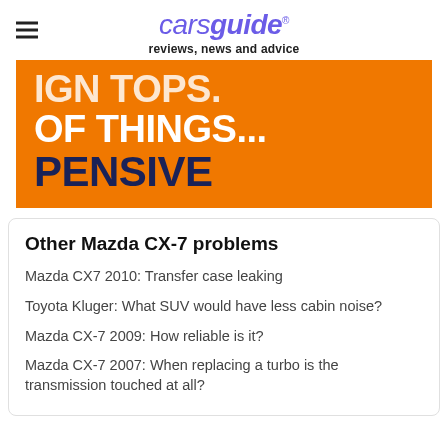carsguide reviews, news and advice
[Figure (other): Orange banner with bold white and dark navy text reading 'OF THINGS... PENSIVE']
Other Mazda CX-7 problems
Mazda CX7 2010: Transfer case leaking
Toyota Kluger: What SUV would have less cabin noise?
Mazda CX-7 2009: How reliable is it?
Mazda CX-7 2007: When replacing a turbo is the transmission touched at all?